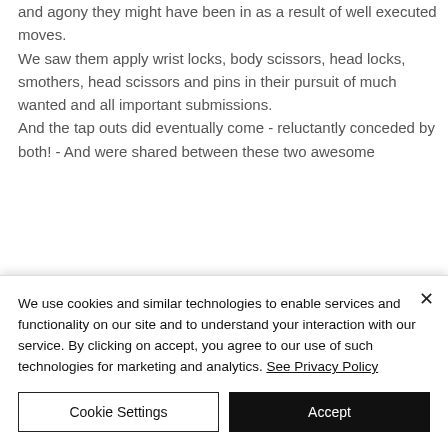and agony they might have been in as a result of well executed moves. We saw them apply wrist locks, body scissors, head locks, smothers, head scissors and pins in their pursuit of much wanted and all important submissions. And the tap outs did eventually come - reluctantly conceded by both! - And were shared between these two awesome
We use cookies and similar technologies to enable services and functionality on our site and to understand your interaction with our service. By clicking on accept, you agree to our use of such technologies for marketing and analytics. See Privacy Policy
Cookie Settings
Accept